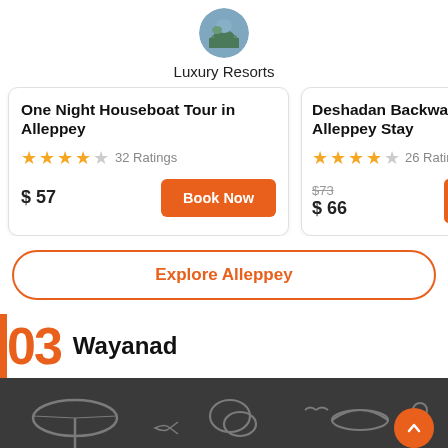[Figure (photo): Circular badge with landscape/resort photo labeled Luxury Resorts]
Luxury Resorts
One Night Houseboat Tour in Alleppey
4 stars out of 5 — 32 Ratings
$57
Book Now
Deshadan Backwater Alleppey Stay
4 stars out of 5 — 26 Ratings
$73 (original) $66
Explore Alleppey
03 Wayanad
[Figure (illustration): Dark footer bar with tourism/beach icons (umbrella, bird, person, hat icons) and orange scroll-to-top button]